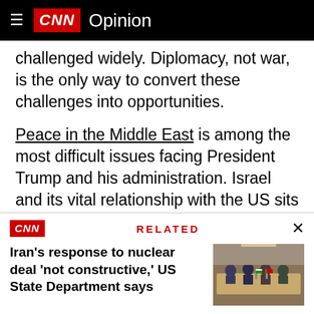CNN Opinion
challenged widely. Diplomacy, not war, is the only way to convert these challenges into opportunities.
Peace in the Middle East is among the most difficult issues facing President Trump and his administration. Israel and its vital relationship with the US sits at the center of that challenge.
The US cannot force peace on Israel or the Palestinians. It may be in their interest to help find that peace, but it is an issue of the same vital
Iran's response to nuclear deal 'not constructive,' US State Department says